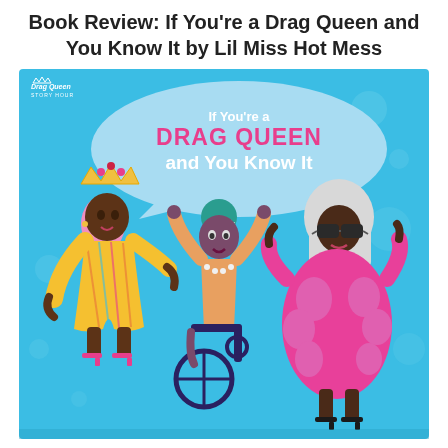Book Review: If You're a Drag Queen and You Know It by Lil Miss Hot Mess
[Figure (illustration): Book cover illustration for 'If You're a Drag Queen and You Know It' by Lil Miss Hot Mess. Bright blue background with three stylized drag queen characters: one in a yellow patterned dress with pink hair and a gold crown, one in an orange outfit in a wheelchair with teal hair and a starfish, and one in a hot pink fluffy dress with white hair and large sunglasses. A speech bubble contains the title text. Drag Queen Story Hour logo in top left.]